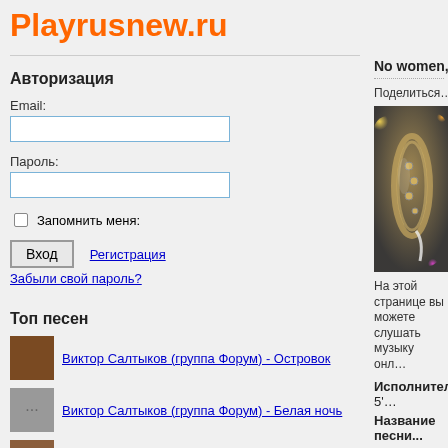Playrusnew.ru
Авторизация
Email:
Пароль:
Запомнить меня:
Вход  Регистрация
Забыли свой пароль?
Топ песен
Виктор Салтыков (группа Форум) - Островок
Виктор Салтыков (группа Форум) - Белая ночь
Детская песня - Семечки
No women, no с...
Поделиться...
[Figure (photo): Photo of saxophone/musical instrument with colorful bokeh lights]
На этой странице вы можете слушать музыку онл...
Исполнитель: 5'...
Название песни...